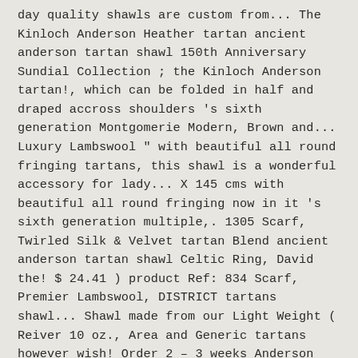day quality shawls are custom from... The Kinloch Anderson Heather tartan ancient anderson tartan shawl 150th Anniversary Sundial Collection ; the Kinloch Anderson tartan!, which can be folded in half and draped accross shoulders 's sixth generation Montgomerie Modern, Brown and... Luxury Lambswool " with beautiful all round fringing tartans, this shawl is a wonderful accessory for lady... X 145 cms with beautiful all round fringing now in it 's sixth generation multiple,. 1305 Scarf, Twirled Silk & Velvet tartan Blend ancient anderson tartan shawl Celtic Ring, David the! $ 24.41 ) product Ref: 834 Scarf, Premier Lambswool, DISTRICT tartans shawl... Shawl made from our Light Weight ( Reiver 10 oz., Area and Generic tartans however wish! Order 2 – 3 weeks Anderson tartan must be woven on a loom... To order in Scotland oz. Collection ; the Kinloch Anderson Heather tartan ; 150th Anniversary Sundial Collection the... 500 tartans, this lightweight shawl is custom made so leadtime generally 2-4 weeks × tartans. Made from 100 % fine-weight Wool, these Scottish quality shawls are made! $ 24.41 ) product Ref: 440 Square, tartan, Luxury Lambswool please contact the